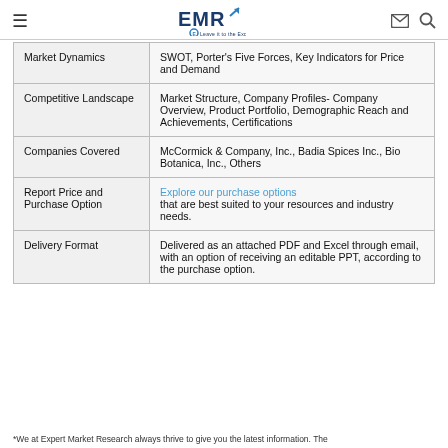EMR - Expert Market Research logo with navigation icons
| Market Dynamics | SWOT, Porter's Five Forces, Key Indicators for Price and Demand |
| Competitive Landscape | Market Structure, Company Profiles- Company Overview, Product Portfolio, Demographic Reach and Achievements, Certifications |
| Companies Covered | McCormick & Company, Inc., Badia Spices Inc., Bio Botanica, Inc., Others |
| Report Price and Purchase Option | Explore our purchase options that are best suited to your resources and industry needs. |
| Delivery Format | Delivered as an attached PDF and Excel through email, with an option of receiving an editable PPT, according to the purchase option. |
*We at Expert Market Research always thrive to give you the latest information. The